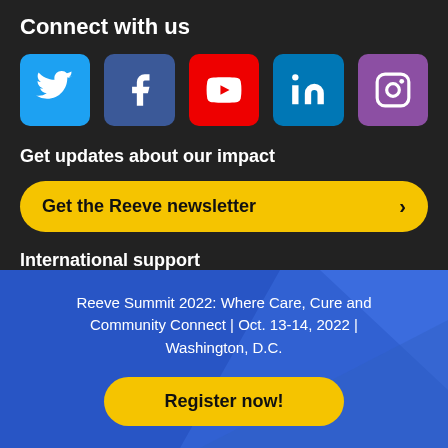Connect with us
[Figure (other): Five social media icons: Twitter (blue), Facebook (dark blue), YouTube (red), LinkedIn (teal), Instagram (purple)]
Get updates about our impact
Get the Reeve newsletter >
International support
Reeve Summit 2022: Where Care, Cure and Community Connect | Oct. 13-14, 2022 | Washington, D.C.
Register now!